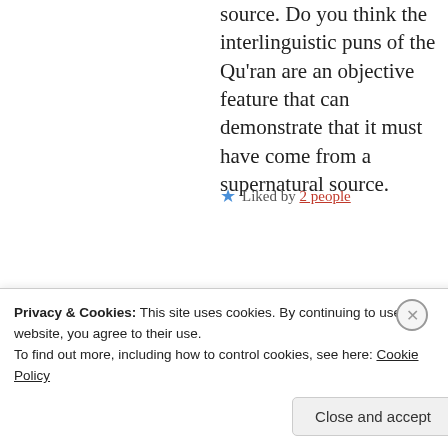source. Do you think the interlinguistic puns of the Qu'ran are an objective feature that can demonstrate that it must have come from a supernatural source.
★ Liked by 2 people
Taha
July 30, 2018 at 5:28 am
No such book attempts to
Privacy & Cookies: This site uses cookies. By continuing to use this website, you agree to their use.
To find out more, including how to control cookies, see here: Cookie Policy
Close and accept